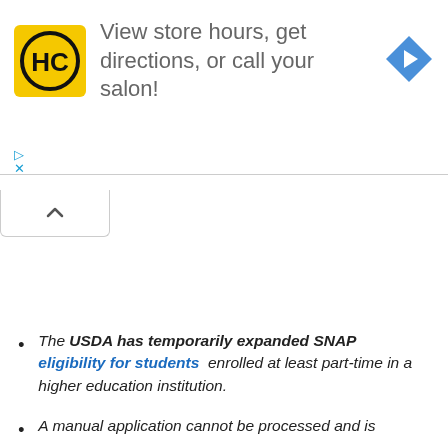[Figure (infographic): Advertisement banner for Hair Club (HC) showing yellow logo with HC monogram, text 'View store hours, get directions, or call your salon!', and a blue navigation arrow icon on the right. Below are play and close controls.]
The USDA has temporarily expanded SNAP eligibility for students enrolled at least part-time in a higher education institution.
A manual application cannot be processed and is